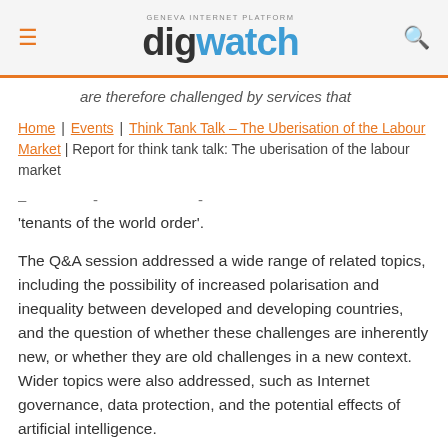digwatch — Geneva Internet Platform
are therefore challenged by services that
Home | Events | Think Tank Talk – The Uberisation of the Labour Market | Report for think tank talk: The uberisation of the labour market
– [redacted] - [redacted] - 'tenants of the world order'.
The Q&A session addressed a wide range of related topics, including the possibility of increased polarisation and inequality between developed and developing countries, and the question of whether these challenges are inherently new, or whether they are old challenges in a new context. Wider topics were also addressed, such as Internet governance, data protection, and the potential effects of artificial intelligence.